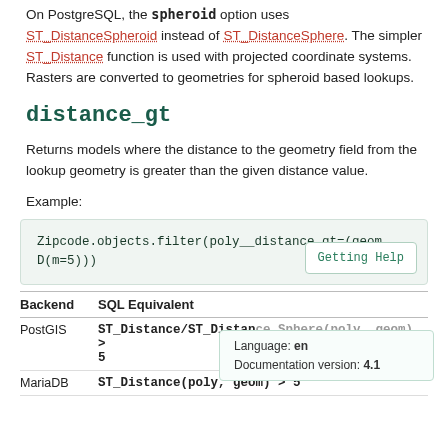On PostgreSQL, the `spheroid` option uses ST_DistanceSpheroid instead of ST_DistanceSphere. The simpler ST_Distance function is used with projected coordinate systems. Rasters are converted to geometries for spheroid based lookups.
distance_gt
Returns models where the distance to the geometry field from the lookup geometry is greater than the given distance value.
Example:
[Figure (screenshot): Code block showing: Zipcode.objects.filter(poly__distance_gt=(geom, D(m=5))) with a Getting Help button]
| Backend | SQL Equivalent |
| --- | --- |
| PostGIS | ST_Distance/ST_DistanceSphere(poly, geom) > 5 |
| MariaDB | ST_Distance(poly, geom) > 5 |